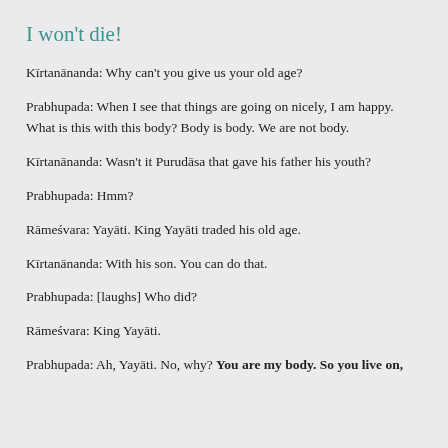I won't die!
Kīrtanānanda: Why can't you give us your old age?
Prabhupada: When I see that things are going on nicely, I am happy. What is this with this body? Body is body. We are not body.
Kīrtanānanda: Wasn't it Purudāsa that gave his father his youth?
Prabhupada: Hmm?
Rāmeśvara: Yayāti. King Yayāti traded his old age.
Kīrtanānanda: With his son. You can do that.
Prabhupada: [laughs] Who did?
Rāmeśvara: King Yayāti.
Prabhupada: Ah, Yayāti. No, why? You are my body. So you live on,